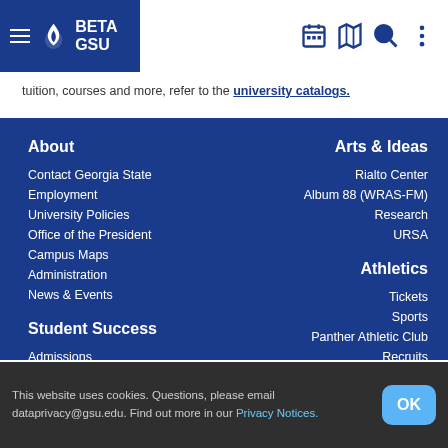BETA GSU
tuition, courses and more, refer to the university catalogs.
About
Contact Georgia State
Employment
University Policies
Office of the President
Campus Maps
Administration
News & Events
Arts & Ideas
Rialto Center
Album 88 (WRAS-FM)
Research
URSA
Athletics
Tickets
Sports
Panther Athletic Club
Recruits
Student Success
Admissions
This website uses cookies. Questions, please email dataprivacy@gsu.edu. Find out more in our Privacy Notices.